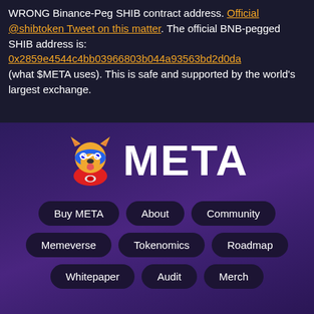WRONG Binance-Peg SHIB contract address. Official @shibtoken Tweet on this matter. The official BNB-pegged SHIB address is: 0x2859e4544c4bb03966803b044a93563bd2d0da (what $META uses). This is safe and supported by the world's largest exchange.
[Figure (logo): META token logo — a cartoon Shiba Inu dog with blue mask and red costume, alongside bold white text 'META']
Buy META
About
Community
Memeverse
Tokenomics
Roadmap
Whitepaper
Audit
Merch